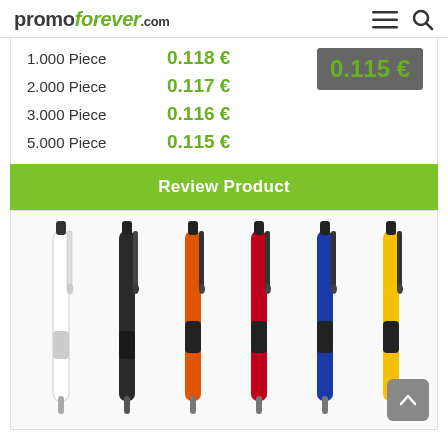promoforever.com
| Quantity | Price |
| --- | --- |
| 1.000 Piece | 0.118 € |
| 2.000 Piece | 0.117 € |
| 3.000 Piece | 0.116 € |
| 5.000 Piece | 0.115 € |
0.115 €
Review Product
[Figure (photo): Six promotional ballpoint pens in different colors: white, black, orange, red, blue, and yellow, each with black accents and clip.]